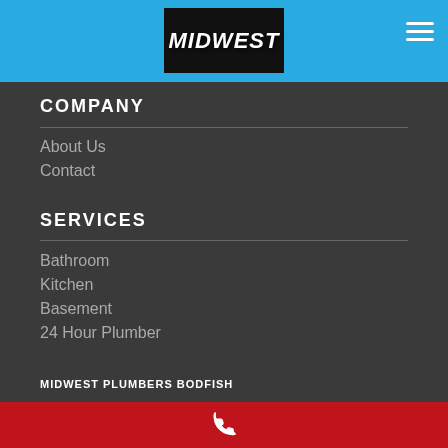[Figure (logo): Midwest Plumbers logo on black background with blue header bar and hamburger menu icon]
COMPANY
About Us
Contact
SERVICES
Bathroom
Kitchen
Basement
24 Hour Plumber
MIDWEST PLUMBERS BODFISH
[Figure (illustration): White phone handset icon on red background bar]